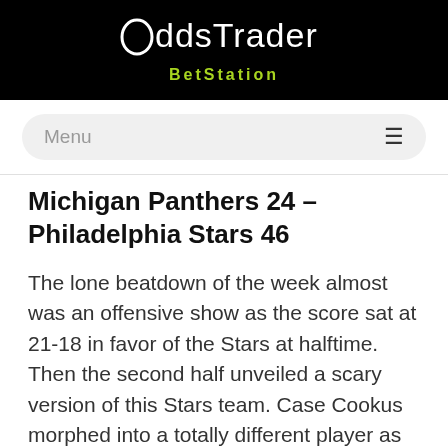OddsTrader BetStation
Michigan Panthers 24 – Philadelphia Stars 46
The lone beatdown of the week almost was an offensive show as the score sat at 21-18 in favor of the Stars at halftime. Then the second half unveiled a scary version of this Stars team. Case Cookus morphed into a totally different player as he torpedoed for more and completed 30